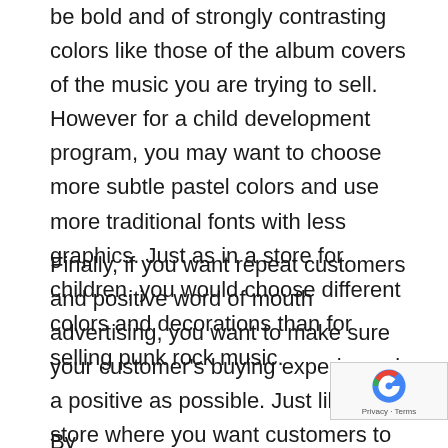be bold and of strongly contrasting colors like those of the album covers of the music you are trying to sell. However for a child development program, you may want to choose more subtle pastel colors and use more traditional fonts with less graphics. Just as in a store for children, you would choose different colors and decorations than for selling punk rock music.
Finally, if you want repeat customers and positive word of mouth advertising, you want to make sure your customer's buying experience is a positive as possible. Just like in a store where you want customers to be greeted quickly and in a friendly manner when they are ready to pull out their cash or credit cards, you want your online business purchase to be a quick and secure possible.
By clicking the recaptcha you agree to visit...